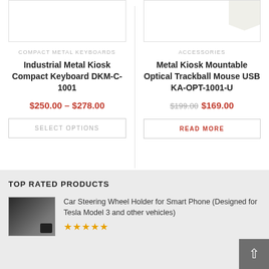[Figure (photo): Product image box for Industrial Metal Kiosk Compact Keyboard, mostly white/empty]
[Figure (photo): Product image box for Metal Kiosk Mountable Optical Trackball Mouse, white device visible at top right]
COMPACT METAL KEYBOARDS
Industrial Metal Kiosk Compact Keyboard DKM-C-1001
$250.00 – $278.00
SELECT OPTIONS
ACCESSORIES
Metal Kiosk Mountable Optical Trackball Mouse USB KA-OPT-1001-U
$199.00  $169.00
READ MORE
TOP RATED PRODUCTS
[Figure (photo): Thumbnail of Car Steering Wheel Holder product in car dashboard context]
Car Steering Wheel Holder for Smart Phone (Designed for Tesla Model 3 and other vehicles)
★★★★★